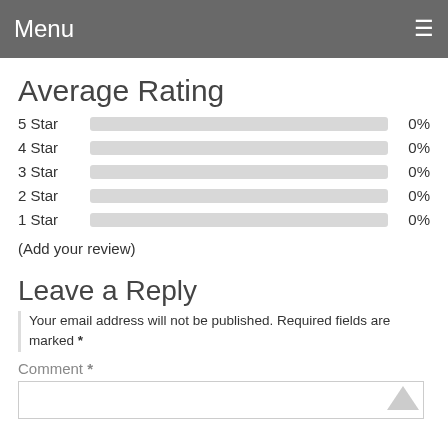Menu
Average Rating
5 Star 0%
4 Star 0%
3 Star 0%
2 Star 0%
1 Star 0%
(Add your review)
Leave a Reply
Your email address will not be published. Required fields are marked *
Comment *